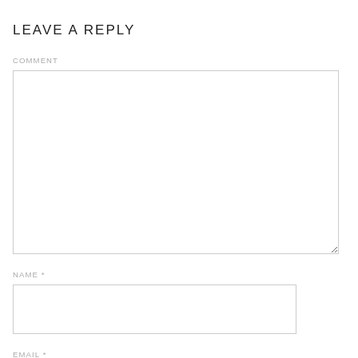LEAVE A REPLY
COMMENT
NAME *
EMAIL *